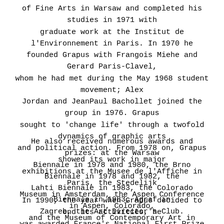of Fine Arts in Warsaw and completed his studies in 1971 with graduate work at the Institut de l'Environnement in Paris. In 1970 he founded Grapus with Frangois Miehe and Gerard Paris-Clavel, whom he had met during the May 1968 student movement; Alex Jordan and JeanPaul Bachollet joined the group in 1976. Grapus sought to 'change life' through a twofold dynamics of graphic arts and political action. From 1978 on, Grapus showed its work in major exhibitions at the Musee de l'Affiche in Paris, the Stedelijk Museum in Amsterdam, the Aspen Conference in Aspen, Colorado, and the Museum of Contemporary Art in Montreal.
He also received numerous awards and prizes: at the Warsaw Biennale in 1978 and 1980, the Brno Biennale in 1978 and 1982, the Lahti Biennale in 1983, the Colorado Biennale in 1983, Agraf in Zagreb, the Art Director's Club.
In 1990, the year when Grapus decided to end its activities, he was awarded France's National First Prize for Graphics Arts. Pierre Bernard then founded the Atelier de Creation Graphique with Dirk